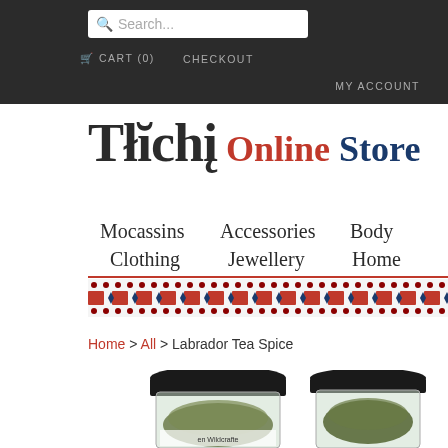Search... | CART (0) | CHECKOUT | MY ACCOUNT
Tłıchǫ Online Store
Mocassins
Accessories
Body
Clothing
Jewellery
Home
[Figure (illustration): Decorative beaded border pattern in red and blue diamond/dot motifs]
Home > All > Labrador Tea Spice
[Figure (photo): Two glass jars with black lids containing Labrador Tea Spice, wildcrafted product]